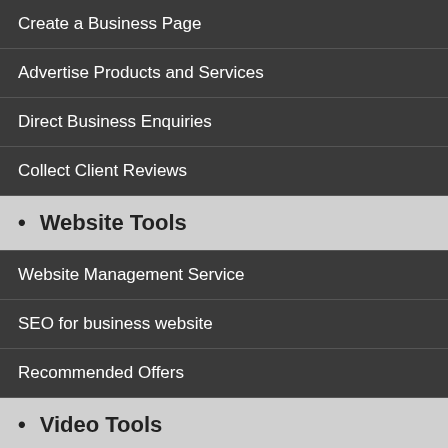Create a Business Page
Advertise Products and Services
Direct Business Enquiries
Collect Client Reviews
• Website Tools
Website Management Service
SEO for business website
Recommended Offers
• Video Tools
Video Testimonials